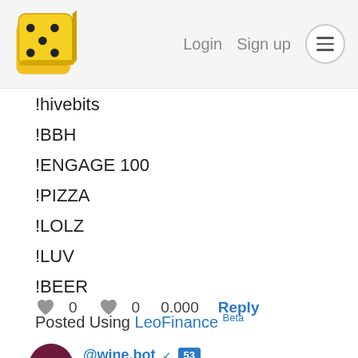Login  Sign up  [menu]
!hivebits
!BBH
!ENGAGE 100
!PIZZA
!LOLZ
!LUV
!BEER
Posted Using LeoFinance Beta
♥ 0  ♥ 0  0.000  Reply
@wine.bot ✓ 53
3 months ago
Congratulations, @maarnio You Successfully Sha...
@ol...